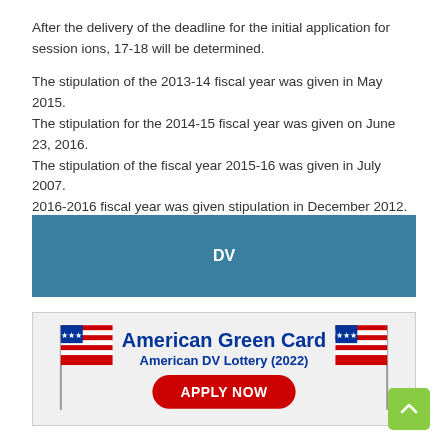After the delivery of the deadline for the initial application for session ions, 17-18 will be determined.

The stipulation of the 2013-14 fiscal year was given in May 2015.
The stipulation for the 2014-15 fiscal year was given on June 23, 2016.
The stipulation of the fiscal year 2015-16 was given in July 2007.
2016-2016 fiscal year was given stipulation in December 2012.
[Figure (other): Blue banner with white bold text 'DV' centered]
[Figure (infographic): American Green Card / American DV Lottery (2022) advertisement banner with US flags on both sides and 'APPLY NOW' red button]